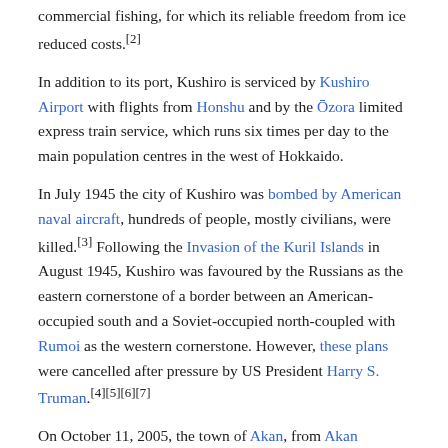commercial fishing, for which its reliable freedom from ice reduced costs.[2]
In addition to its port, Kushiro is serviced by Kushiro Airport with flights from Honshu and by the Ōzora limited express train service, which runs six times per day to the main population centres in the west of Hokkaido.
In July 1945 the city of Kushiro was bombed by American naval aircraft, hundreds of people, mostly civilians, were killed.[3] Following the Invasion of the Kuril Islands in August 1945, Kushiro was favoured by the Russians as the eastern cornerstone of a border between an American-occupied south and a Soviet-occupied north-coupled with Rumoi as the western cornerstone. However, these plans were cancelled after pressure by US President Harry S. Truman.[4][5][6][7]
On October 11, 2005, the town of Akan, from Akan District, and the town of Onbetsu, from Shiranuka District, was merged into Kushiro. The town of Shiranuka now lies between the two sections of Kushiro.
In 2008, the city had an estimated population of 189,539 and a total area of 1,362.75 km2 (526.16 sq mi), giving a population density of...